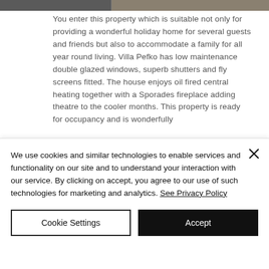[Figure (photo): Top portion of a property photo, partially cropped]
You enter this property which is suitable not only for providing a wonderful holiday home for several guests and friends but also to accommodate a family for all year round living. Villa Pefko has low maintenance double glazed windows, superb shutters and fly screens fitted. The house enjoys oil fired central heating together with a Sporades fireplace adding theatre to the cooler months. This property is ready for occupancy and is wonderfully
We use cookies and similar technologies to enable services and functionality on our site and to understand your interaction with our service. By clicking on accept, you agree to our use of such technologies for marketing and analytics. See Privacy Policy
Cookie Settings
Accept